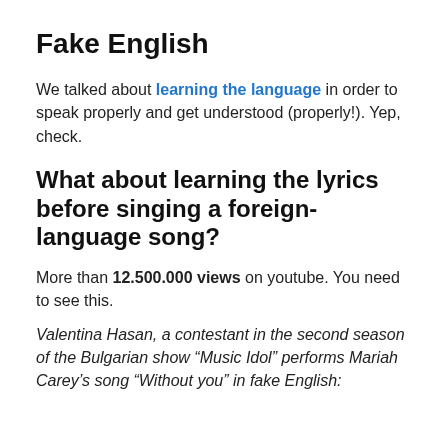Fake English
We talked about learning the language in order to speak properly and get understood (properly!). Yep, check.
What about learning the lyrics before singing a foreign-language song?
More than 12.500.000 views on youtube. You need to see this.
Valentina Hasan, a contestant in the second season of the Bulgarian show “Music Idol” performs Mariah Carey’s song “Without you” in fake English: